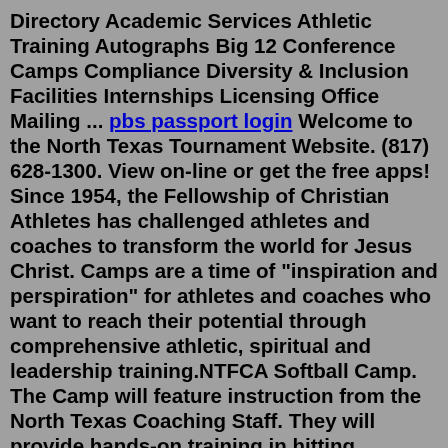Directory Academic Services Athletic Training Autographs Big 12 Conference Camps Compliance Diversity & Inclusion Facilities Internships Licensing Office Mailing ... pbs passport login Welcome to the North Texas Tournament Website. (817) 628-1300. View on-line or get the free apps! Since 1954, the Fellowship of Christian Athletes has challenged athletes and coaches to transform the world for Jesus Christ. Camps are a time of "inspiration and perspiration" for athletes and coaches who want to reach their potential through comprehensive athletic, spiritual and leadership training.NTFCA Softball Camp. The Camp will feature instruction from the North Texas Coaching Staff. They will provide hands-on training in hitting, pitching, bunting, infield, outfield and base running for experienced athletes. The major emphasis is to prepare athletes for advanced level of competition. The camp is open to any and all entrants limited ...Softball Camps. 2022 Camps. Softball All Skills Mini-Camps Date: August